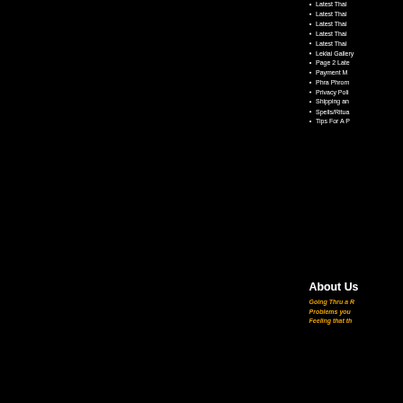Latest Thai …
Latest Thai …
Latest Thai …
Latest Thai …
Latest Thai …
Leklai Gallery
Page 2 Late…
Payment M…
Phra Phrom…
Privacy Poli…
Shipping an…
Spells/Ritua…
Tips For A P…
About Us
Going Thru a R…
Problems you…
Feeling that th…